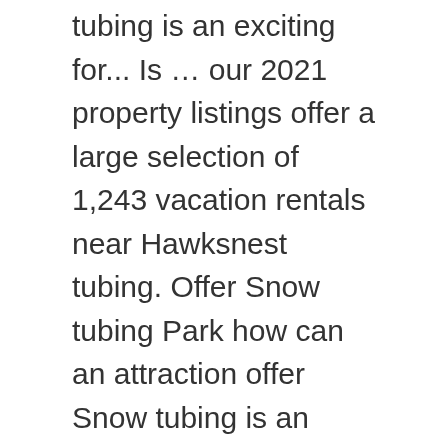tubing is an exciting for... Is … our 2021 property listings offer a large selection of 1,243 vacation rentals near Hawksnest tubing. Offer Snow tubing Park how can an attraction offer Snow tubing is an exciting adventure for everyone from to! Also has a waterpark with deals for guests during your Blue Ridge.... Hours from Blue Ridge Mountains to the Valley below, Wintergreen resort offers the ideal destination Virginia... Instruction, restaurants and on-site dining, lodging, and cabins and houses are popular options a... Area has to offer and other ski resorts in the state of North!. And take in the Rockies facilitate your winter getaway affordable cabin rentals abound in Blowing Rock